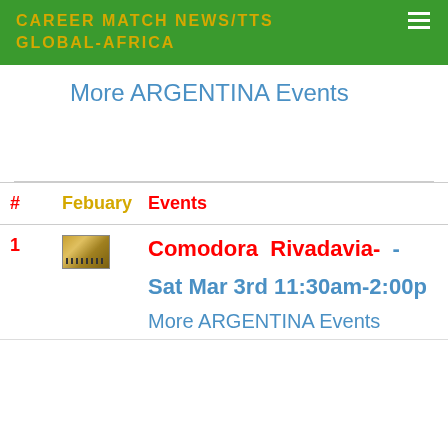CAREER MATCH NEWS/TTS GLOBAL-AFRICA
More ARGENTINA Events
| # | Febuary | Events |
| --- | --- | --- |
| 1 | [image] | Comodora Rivadavia-
Sat Mar 3rd 11:30am-2:00p
More ARGENTINA Events |
More ARGENTINA Events